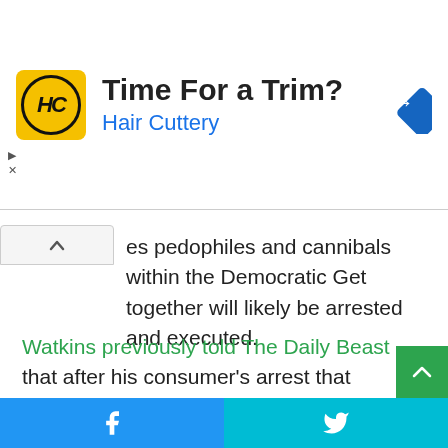[Figure (other): Hair Cuttery advertisement banner with yellow HC logo, navigation arrow diamond icon, text 'Time For a Trim?' and 'Hair Cuttery']
es pedophiles and cannibals within the Democratic Get together will likely be arrested and executed.
Watkins previously told The Daily Beast that after his consumer's arrest that Chansley has “gone via a interval of introspection” and realized that he made himself “open to the propaganda from the previous president.” One main issue towards his wake-up name got here after Trump apparently snubbed a pardon request from Chansley and different Capitol rioters.
“He has come to understand that indisputable fact that the
[Figure (other): Social share bar with Facebook and Twitter icons on blue/cyan background]